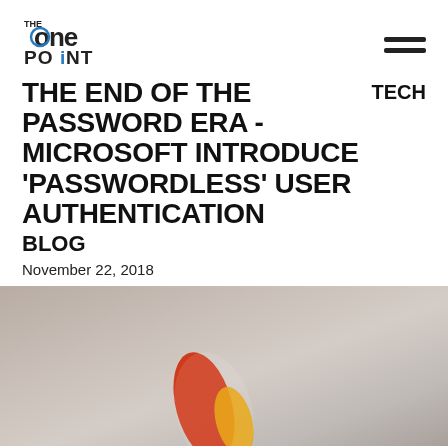THE ONE POINT
THE END OF THE PASSWORD ERA - MICROSOFT INTRODUCE 'PASSWORDLESS' USER AUTHENTICATION
TECH
BLOG
November 22, 2018
[Figure (photo): A blurred photo of a pencil or marker with red and yellow/orange colors against a beige/grey soft background]